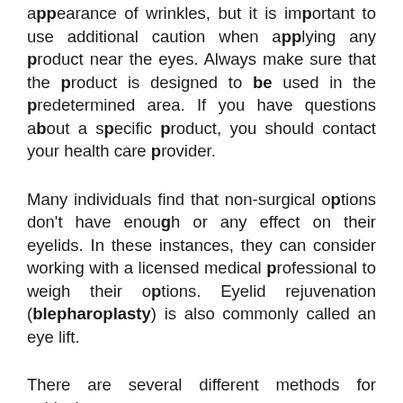appearance of wrinkles, but it is important to use additional caution when applying any product near the eyes. Always make sure that the product is designed to be used in the predetermined area. If you have questions about a specific product, you should contact your health care provider.
Many individuals find that non-surgical options don't have enough or any effect on their eyelids. In these instances, they can consider working with a licensed medical professional to weigh their options. Eyelid rejuvenation (blepharoplasty) is also commonly called an eye lift.
There are several different methods for achieving